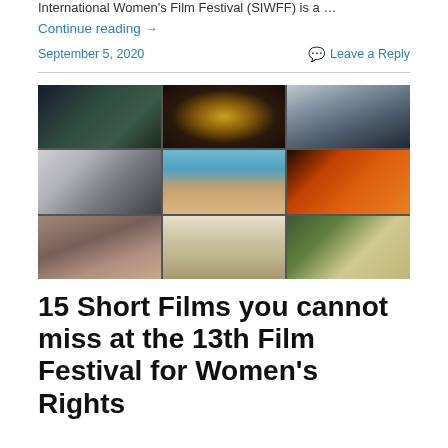International Women's Film Festival (SIWFF) is a …
Continue reading →
September 5, 2020
Leave a Reply
[Figure (photo): A 3x3 grid collage of nine film stills showing various scenes: a young woman looking out a window, a person illuminated in bokeh lights, a young Asian girl on a street, a white mask with headphones, a medical/healing scene with hands on a head, blue and orange abstract hands, two children in a shower, two people lying on a wooden floor, and two young people standing outdoors.]
15 Short Films you cannot miss at the 13th Film Festival for Women's Rights